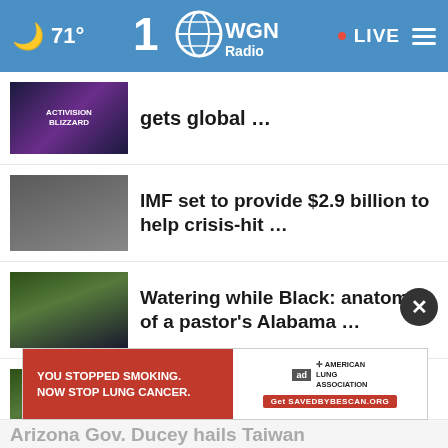71° WGN Radio LIVE
gets global …
IMF set to provide $2.9 billion to help crisis-hit …
Watering while Black: anatomy of a pastor's Alabama …
Watering while Black: anatomy of a pastor's Alabama …
Hawaii closes last coal-fired power plant as ban …
LGBTQ activists in Peru dema…
Arizona Gov. Ducey hails Taiwan…
[Figure (screenshot): Advertisement banner: YOU STOPPED SMOKING. NOW STOP LUNG CANCER. American Lung Association. Get SAVEDBYDESCAN.ORG]